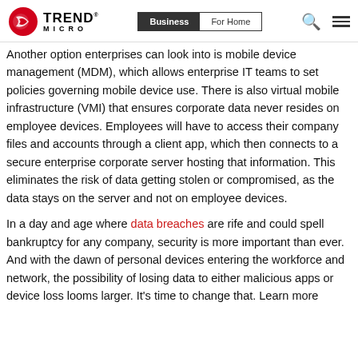Trend Micro | Business | For Home
Another option enterprises can look into is mobile device management (MDM), which allows enterprise IT teams to set policies governing mobile device use. There is also virtual mobile infrastructure (VMI) that ensures corporate data never resides on employee devices. Employees will have to access their company files and accounts through a client app, which then connects to a secure enterprise corporate server hosting that information. This eliminates the risk of data getting stolen or compromised, as the data stays on the server and not on employee devices.
In a day and age where data breaches are rife and could spell bankruptcy for any company, security is more important than ever. And with the dawn of personal devices entering the workforce and network, the possibility of losing data to either malicious apps or device loss looms larger. It’s time to change that. Learn more